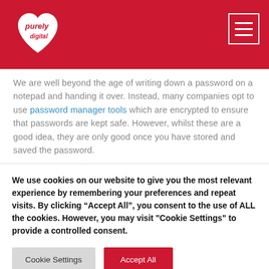[Figure (logo): Purely Digital logo — white heart shape with 'purely digital' text inside, on red background header bar with hamburger menu icon top right]
We are well beyond the age of writing down a password on a notepad and handing it over. Instead, many companies opt to use password manager tools which are encrypted to ensure that passwords are kept safe. However, whilst these are a good idea, they are only good once you have stored and saved the password.
We use cookies on our website to give you the most relevant experience by remembering your preferences and repeat visits. By clicking "Accept All", you consent to the use of ALL the cookies. However, you may visit "Cookie Settings" to provide a controlled consent.
Cookie Settings
Accept All